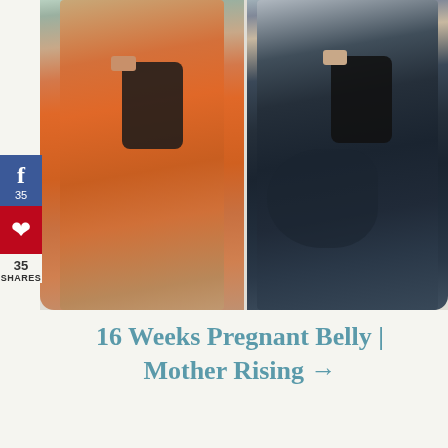[Figure (photo): Two side-by-side mirror selfie photos of a pregnant woman at 16 weeks. Left photo: woman in orange tank top, showing baby bump, standing in a bedroom. Right photo: same woman in dark/black tank top, showing larger baby bump, standing in a bathroom. Both photos have rounded bottom corners. A Facebook share button (blue, count 35) and Pinterest button (red) are overlaid on the left side.]
16 Weeks Pregnant Belly | Mother Rising →